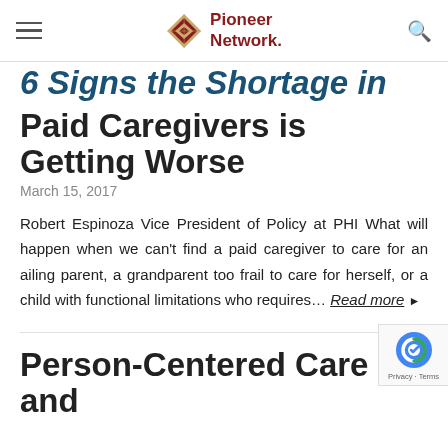Pioneer Network
6 Signs the Shortage in Paid Caregivers is Getting Worse
March 15, 2017
Robert Espinoza Vice President of Policy at PHI What will happen when we can't find a paid caregiver to care for an ailing parent, a grandparent too frail to care for herself, or a child with functional limitations who requires… Read more ▸
Person-Centered Care and